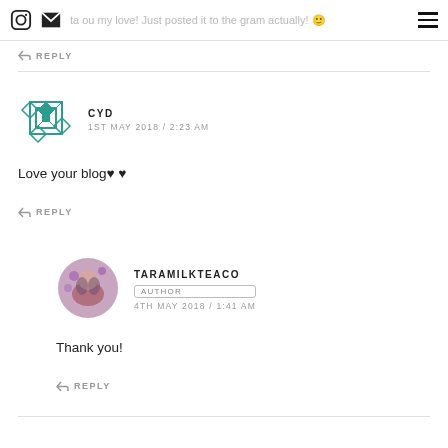ta ... you my love! Just posted it to the gram actually! 🙂
↩ REPLY
CYD
1ST MAY 2018 / 2:23 AM
Love your blog♥♥
↩ REPLY
TARAMILKTEACO
AUTHOR
4TH MAY 2018 / 1:41 AM
Thank you!
↩ REPLY